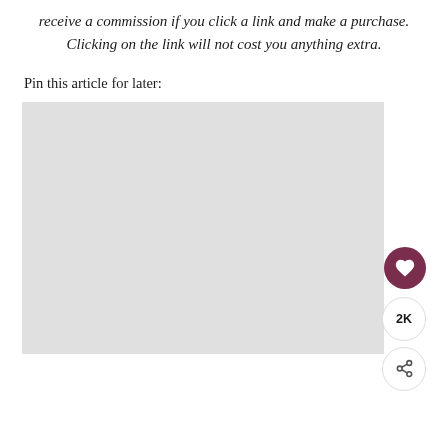receive a commission if you click a link and make a purchase. Clicking on the link will not cost you anything extra.
Pin this article for later:
[Figure (other): A large light gray placeholder image with social interaction buttons on the right side: a heart/save button (dark red/maroon circle), a 2K count label, and a share button (white circle with share icon)]